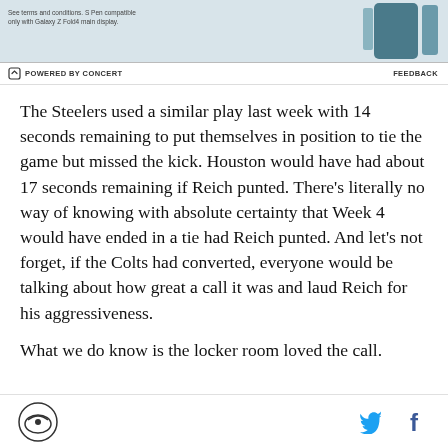[Figure (other): Advertisement banner with device image (Samsung Galaxy Z Fold4)]
See terms and conditions. S Pen compatible only with Galaxy Z Fold4 main display.
POWERED BY CONCERT   FEEDBACK
The Steelers used a similar play last week with 14 seconds remaining to put themselves in position to tie the game but missed the kick. Houston would have had about 17 seconds remaining if Reich punted. There's literally no way of knowing with absolute certainty that Week 4 would have ended in a tie had Reich punted. And let's not forget, if the Colts had converted, everyone would be talking about how great a call it was and laud Reich for his aggressiveness.
What we do know is the locker room loved the call.
Footer with site logo and social media icons (Twitter, Facebook)